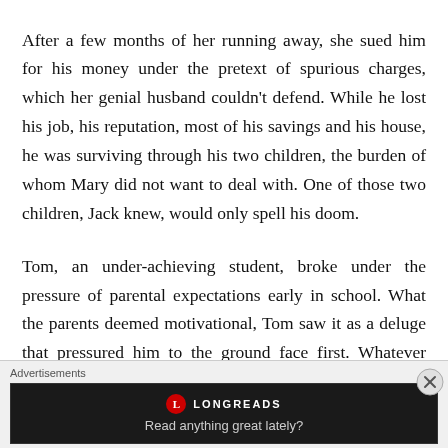After a few months of her running away, she sued him for his money under the pretext of spurious charges, which her genial husband couldn't defend. While he lost his job, his reputation, most of his savings and his house, he was surviving through his two children, the burden of whom Mary did not want to deal with. One of those two children, Jack knew, would only spell his doom.

Tom, an under-achieving student, broke under the pressure of parental expectations early in school. What the parents deemed motivational, Tom saw it as a deluge that pressured him to the ground face first. Whatever hopes he had of trying harder at school melted away along with his
[Figure (other): Advertisement banner for Longreads with tagline 'Read anything great lately?' on a dark background with Longreads logo]